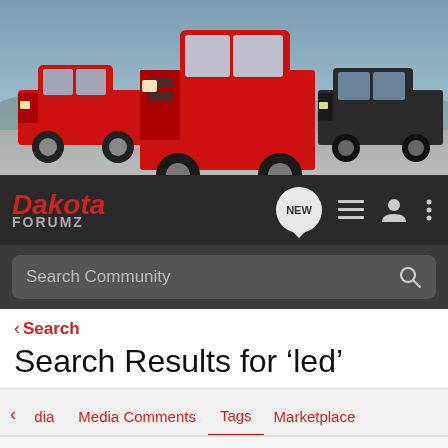[Figure (photo): Three Dodge Dakota pickup trucks on a road — a red one on the left, a large red one in the center, and a dark/black one on the right, set against a sky backdrop.]
Dakota ForumZ — NEW (notification bubble), list icon, user icon, menu icon
Search Community
< Search
Search Results for ‘led’
< dia   Media Comments   Tags   Marketplace
Search Tags
x led   Search